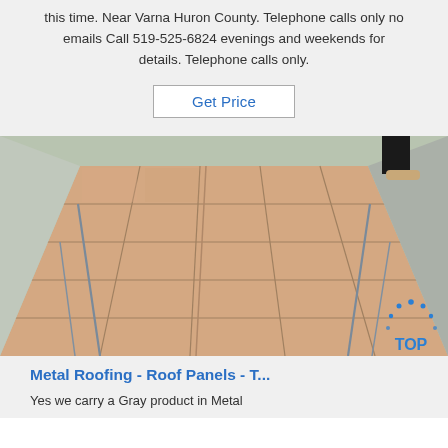this time. Near Varna Huron County. Telephone calls only no emails Call 519-525-6824 evenings and weekends for details. Telephone calls only.
Get Price
[Figure (photo): Photograph of wooden boards/panels laid flat on a concrete floor, viewed from above at an angle, with a person's feet visible in the top right corner.]
Metal Roofing - Roof Panels - T...
Yes we carry a Gray product in Metal